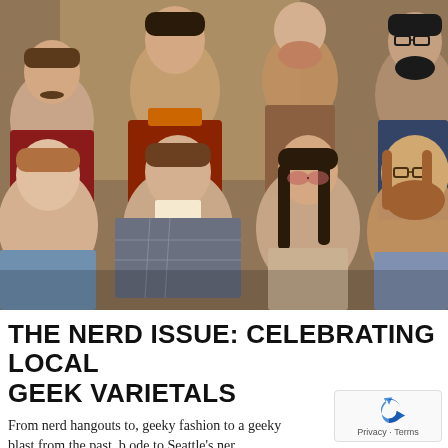[Figure (photo): Vintage 1970s group photo of approximately 8-9 people including men and women, dressed in 1970s style clothing with earth tones, orange, red, and plaid. One young man in front left, a woman in a plaid blazer, a woman with long dark hair and tinted glasses, a large bearded man on the right, and several others in the back row including men with facial hair and glasses.]
THE NERD ISSUE: CELEBRATING LOCAL GEEK VARIETALS
From nerd hangouts to, geeky fashion to a geeky blast from the past, b ode to Seattle's ner